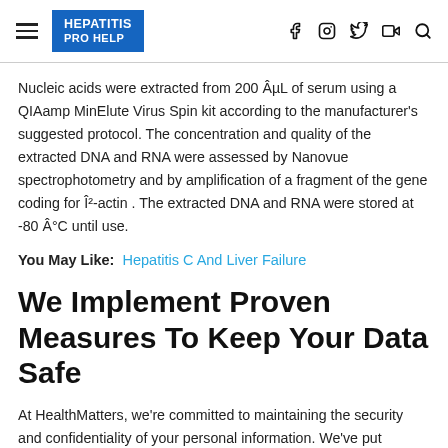HEPATITIS PRO HELP
Nucleic acids were extracted from 200 ÂµL of serum using a QIAamp MinElute Virus Spin kit according to the manufacturer's suggested protocol. The concentration and quality of the extracted DNA and RNA were assessed by Nanovue spectrophotometry and by amplification of a fragment of the gene coding for Î²-actin . The extracted DNA and RNA were stored at -80 Â°C until use.
You May Like: Hepatitis C And Liver Failure
We Implement Proven Measures To Keep Your Data Safe
At HealthMatters, we're committed to maintaining the security and confidentiality of your personal information. We've put industry-leading security standards in place to help